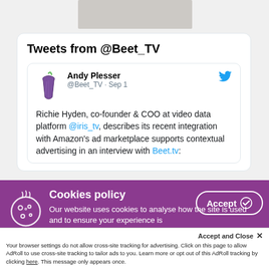[Figure (photo): Grayscale textured image strip at top of page]
Tweets from @Beet_TV
Andy Plesser @Beet_TV · Sep 1
Richie Hyden, co-founder & COO at video data platform @iris_tv, describes its recent integration with Amazon's ad marketplace supports contextual advertising in an interview with Beet.tv:
Cookies policy
Our website uses cookies to analyse how the site is used and to ensure your experience is
Accept
Accept and Close ✕
Your browser settings do not allow cross-site tracking for advertising. Click on this page to allow AdRoll to use cross-site tracking to tailor ads to you. Learn more or opt out of this AdRoll tracking by clicking here. This message only appears once.